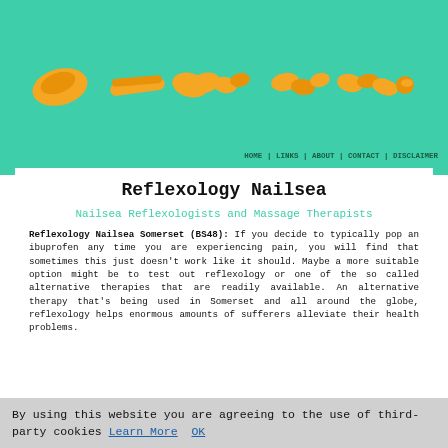[Figure (logo): Orange/yellow decorative logo text on teal/green background, resembling stylized letters forming a website logo]
HOME | LINKS | ABOUT | CONTACT | DISCLAIMER
Reflexology Nailsea
Nailsea Reflexologists and Massage Therapists
Reflexology Nailsea Somerset (BS48): If you decide to typically pop an ibuprofen any time you are experiencing pain, you will find that sometimes this just doesn't work like it should. Maybe a more suitable option might be to test out reflexology or one of the so called alternative therapies that are readily available. An alternative therapy that's being used in Somerset and all around the globe, reflexology helps enormous amounts of sufferers alleviate their health problems.
By using this website you are agreeing to the use of third-party cookies Learn More  OK